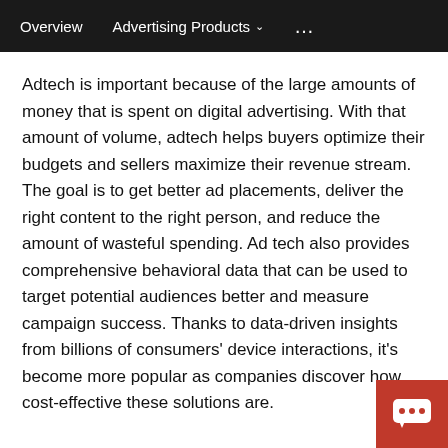Overview   Advertising Products ∨   •••
Adtech is important because of the large amounts of money that is spent on digital advertising. With that amount of volume, adtech helps buyers optimize their budgets and sellers maximize their revenue stream. The goal is to get better ad placements, deliver the right content to the right person, and reduce the amount of wasteful spending. Ad tech also provides comprehensive behavioral data that can be used to target potential audiences better and measure campaign success. Thanks to data-driven insights from billions of consumers' device interactions, it's become more popular as companies discover how cost-effective these solutions are.
Types of adtech
DSP and SSP
A demand side platform (DSP) is used to buy online